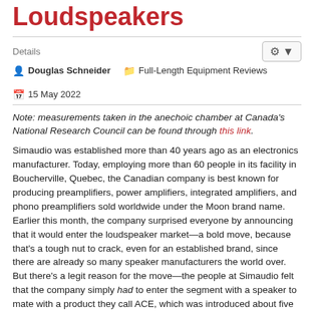Loudspeakers
Details
Douglas Schneider   Full-Length Equipment Reviews   15 May 2022
Note: measurements taken in the anechoic chamber at Canada's National Research Council can be found through this link.
Simaudio was established more than 40 years ago as an electronics manufacturer. Today, employing more than 60 people in its facility in Boucherville, Quebec, the Canadian company is best known for producing preamplifiers, power amplifiers, integrated amplifiers, and phono preamplifiers sold worldwide under the Moon brand name. Earlier this month, the company surprised everyone by announcing that it would enter the loudspeaker market—a bold move, because that's a tough nut to crack, even for an established brand, since there are already so many speaker manufacturers the world over. But there's a legit reason for the move—the people at Simaudio felt that the company simply had to enter the segment with a speaker to mate with a product they call ACE, which was introduced about five